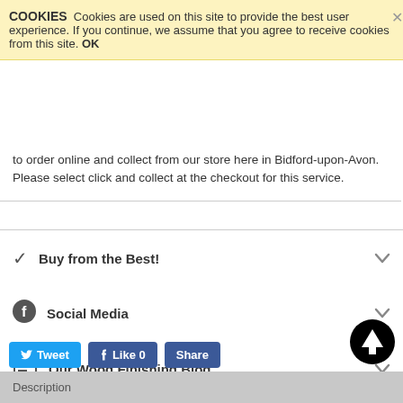COOKIES   Cookies are used on this site to provide the best user experience. If you continue, we assume that you agree to receive cookies from this site. OK
to order online and collect from our store here in Bidford-upon-Avon. Please select click and collect at the checkout for this service.
Buy from the Best!
Social Media
Our Wood Finishing Blog
Clearance Items
Tweet   Like 0   Share
Description